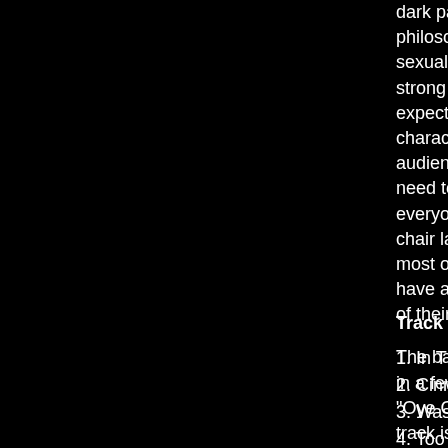dark paths. There is a lot of liquored up philosophizing during bowel movements, sexual innuendo and truck driver language, strong level of political incorrectness and expected; especially of Type-O-Negative characters. Some focus goes to the wild audience and the Gothic girls that love th need to be aware that this stuff is not goi everyone - but there are times when you chair laughing at what you just watched. most of all, that the members of Type-O- have a good time while on the road and of their time.
The band also includes the first new piec in a few years; it is a unique medley of th "Oye Como Va", "Black Magic Woman" a track is great and brings back a little of th era of the band. I understand this song w the pending studio album, which makes t more important to own. I did have one m release and that was the fact that the co you to run straight through. The comedy every few songs and if this was not up yo find it disruptive. I guess you will just hav
Track Listing
1. In The Flesh
2. Cinnamon Girl
3. Waste Of Life: Intro
4. Too Late: Frozen